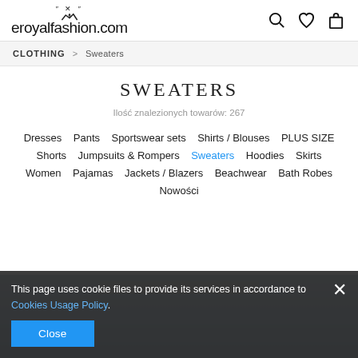eroyalfashion.com
CLOTHING > Sweaters
SWEATERS
Ilość znalezionych towarów: 267
Dresses
Pants
Sportswear sets
Shirts / Blouses
PLUS SIZE
Shorts
Jumpsuits & Rompers
Sweaters
Hoodies
Skirts
Women
Pajamas
Jackets / Blazers
Beachwear
Bath Robes
Nowości
This page uses cookie files to provide its services in accordance to Cookies Usage Policy.
Close